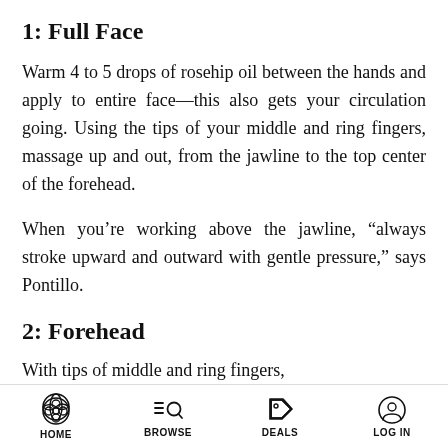1: Full Face
Warm 4 to 5 drops of rosehip oil between the hands and apply to entire face—this also gets your circulation going. Using the tips of your middle and ring fingers, massage up and out, from the jawline to the top center of the forehead.
When you’re working above the jawline, “always stroke upward and outward with gentle pressure,” says Pontillo.
2: Forehead
With tips of middle and ring fingers...
HOME   BROWSE   DEALS   LOG IN